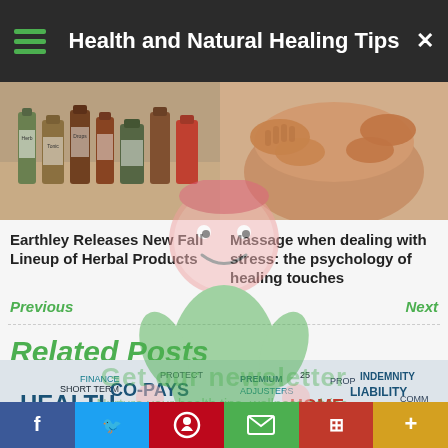Health and Natural Healing Tips
[Figure (photo): Two photos: left shows herbal product bottles, right shows a massage on someone's back]
Earthley Releases New Fall Lineup of Herbal Products
Massage when dealing with stress: the psychology of healing touches
Previous
Next
Related Posts
[Figure (photo): Insurance-related word cloud image featuring words: HEALTH, INSURANCE, CO-PAYS, FINANCE, ACTUARIES, INDEMNITY, HOME, LIABILITY, WORKERS COMPENSATION, BUSINESS, and more]
Get our newsletter
Nurture your health tips, wellness advice, and more